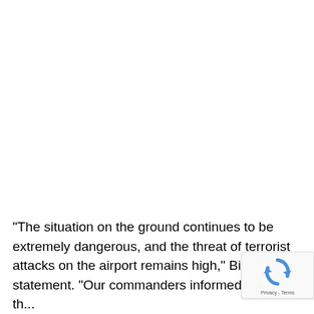“The situation on the ground continues to be extremely dangerous, and the threat of terrorist attacks on the airport remains high,” Biden said statement. “Our commanders informed me that th...
[Figure (logo): Google reCAPTCHA badge with rotating arrows icon and 'Privacy - Terms' text]